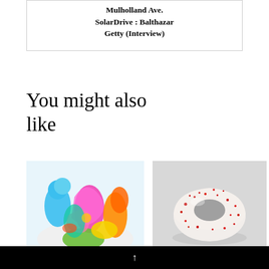Mulholland Ave. SolarDrive : Balthazar Getty (Interview)
You might also like
[Figure (photo): Colorful abstract sculptural figures in blue, pink, orange, green, yellow — intertwined human-like forms on white background]
[Figure (photo): White ceramic donut/ring-shaped sculpture with red speckled pattern on grey background]
Pri... di...
↑